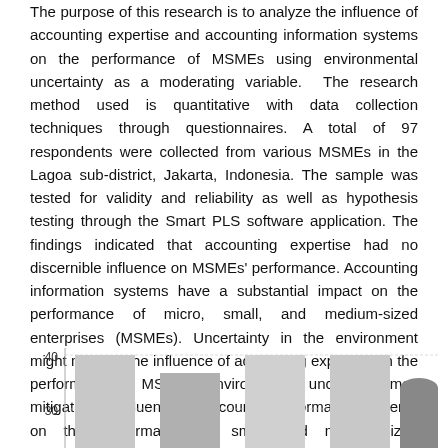The purpose of this research is to analyze the influence of accounting expertise and accounting information systems on the performance of MSMEs using environmental uncertainty as a moderating variable. The research method used is quantitative with data collection techniques through questionnaires. A total of 97 respondents were collected from various MSMEs in the Lagoa sub-district, Jakarta, Indonesia. The sample was tested for validity and reliability as well as hypothesis testing through the Smart PLS software application. The findings indicated that accounting expertise had no discernible influence on MSMEs' performance. Accounting information systems have a substantial impact on the performance of micro, small, and medium-sized enterprises (MSMEs). Uncertainty in the environment might mitigate the influence of accounting expertise on the performance of MSMEs. Environmental uncertainty may mitigate the influence of accounting information systems on the performance of small and medium-sized businesses.
[Figure (bar-chart): Partial bar chart visible at bottom of page, y-axis shows values 30 and 40, bars partially visible]